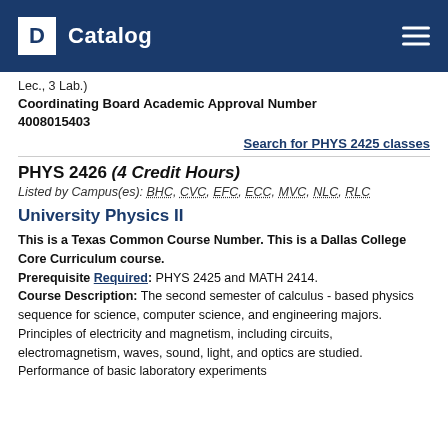Catalog
Lec., 3 Lab.)
Coordinating Board Academic Approval Number 4008015403
Search for PHYS 2425 classes
PHYS 2426 (4 Credit Hours)
Listed by Campus(es): BHC, CVC, EFC, ECC, MVC, NLC, RLC
University Physics II
This is a Texas Common Course Number. This is a Dallas College Core Curriculum course. Prerequisite Required: PHYS 2425 and MATH 2414. Course Description: The second semester of calculus - based physics sequence for science, computer science, and engineering majors. Principles of electricity and magnetism, including circuits, electromagnetism, waves, sound, light, and optics are studied. Performance of basic laboratory experiments